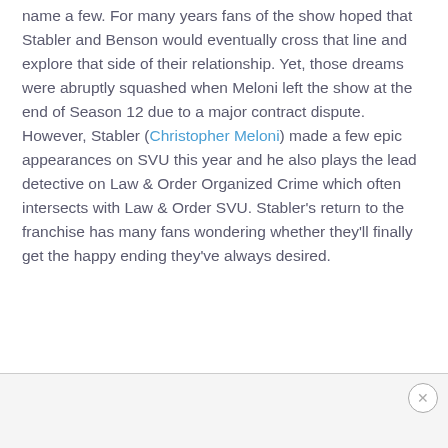name a few. For many years fans of the show hoped that Stabler and Benson would eventually cross that line and explore that side of their relationship. Yet, those dreams were abruptly squashed when Meloni left the show at the end of Season 12 due to a major contract dispute. However, Stabler (Christopher Meloni) made a few epic appearances on SVU this year and he also plays the lead detective on Law & Order Organized Crime which often intersects with Law & Order SVU. Stabler's return to the franchise has many fans wondering whether they'll finally get the happy ending they've always desired.